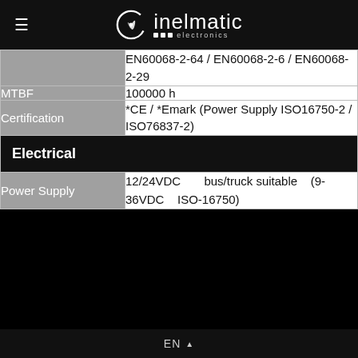inelmatic electronics
| Property | Value |
| --- | --- |
|  | EN60068-2-64 / EN60068-2-6 / EN60068-2-29 |
| MTBF | 100000 h |
| Certification | *CE / *Emark (Power Supply ISO16750-2 / ISO76837-2) |
| Electrical |  |
| Power Supply | 12/24VDC bus/truck suitable (9-36VDC ISO-16750) |
EN